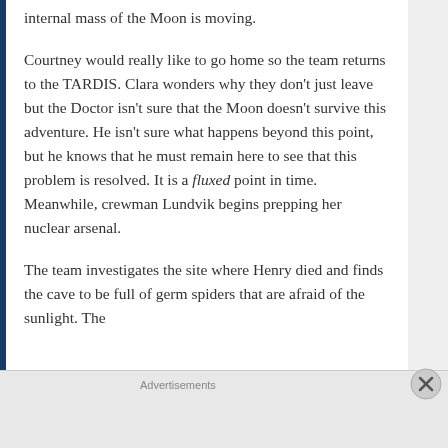internal mass of the Moon is moving.
Courtney would really like to go home so the team returns to the TARDIS. Clara wonders why they don't just leave but the Doctor isn't sure that the Moon doesn't survive this adventure. He isn't sure what happens beyond this point, but he knows that he must remain here to see that this problem is resolved. It is a fluxed point in time. Meanwhile, crewman Lundvik begins prepping her nuclear arsenal.
The team investigates the site where Henry died and finds the cave to be full of germ spiders that are afraid of the sunlight. The
Advertisements